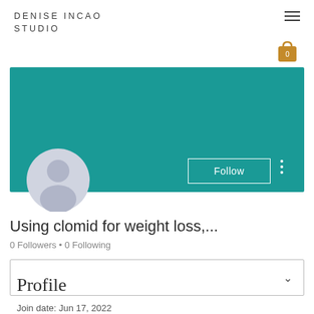DENISE INCAO STUDIO
[Figure (screenshot): Website screenshot showing a user profile page on Denise Incao Studio website. Contains a teal/green banner header, a default gray avatar, a Follow button, follower/following counts, a dropdown selector box, a Profile section heading, and join date information.]
Using clomid for weight loss,...
0 Followers • 0 Following
Profile
Join date: Jun 17, 2022